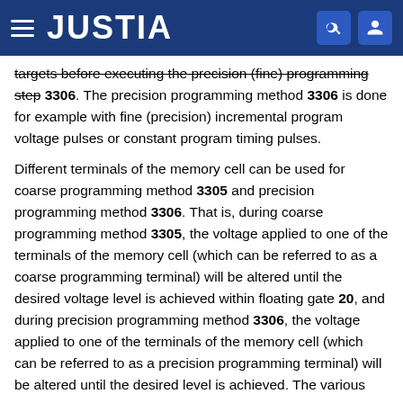JUSTIA
targets before executing the precision (fine) programming step 3306. The precision programming method 3306 is done for example with fine (precision) incremental program voltage pulses or constant program timing pulses.
Different terminals of the memory cell can be used for coarse programming method 3305 and precision programming method 3306. That is, during coarse programming method 3305, the voltage applied to one of the terminals of the memory cell (which can be referred to as a coarse programming terminal) will be altered until the desired voltage level is achieved within floating gate 20, and during precision programming method 3306, the voltage applied to one of the terminals of the memory cell (which can be referred to as a precision programming terminal) will be altered until the desired level is achieved. The various